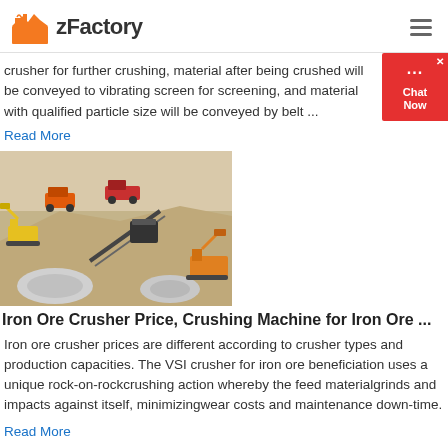zFactory
crusher for further crushing, material after being crushed will be conveyed to vibrating screen for screening, and material with qualified particle size will be conveyed by belt ...
Read More
[Figure (illustration): Isometric illustration of an iron ore crushing plant with conveyor belts, crushers, excavators, dump trucks, and stockpiles of crushed material]
Iron Ore Crusher Price, Crushing Machine for Iron Ore ...
Iron ore crusher prices are different according to crusher types and production capacities. The VSI crusher for iron ore beneficiation uses a unique rock-on-rockcrushing action whereby the feed materialgrinds and impacts against itself, minimizingwear costs and maintenance down-time.
Read More
[Figure (photo): Partial view of another crushing facility image at the bottom of the page]